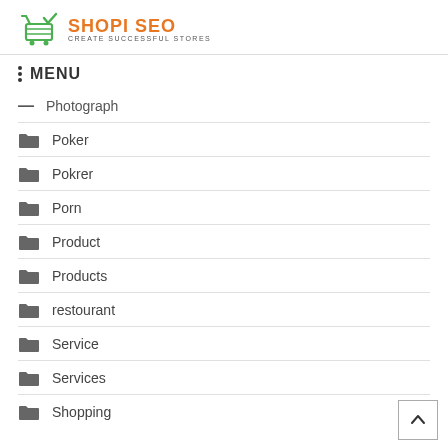[Figure (logo): Shopi SEO logo with shopping cart icon in green, orange text 'SHOPI SEO', subtitle 'CREATE SUCCESSFUL STORES']
MENU
Photograph
Poker
Pokrer
Porn
Product
Products
restourant
Service
Services
Shopping